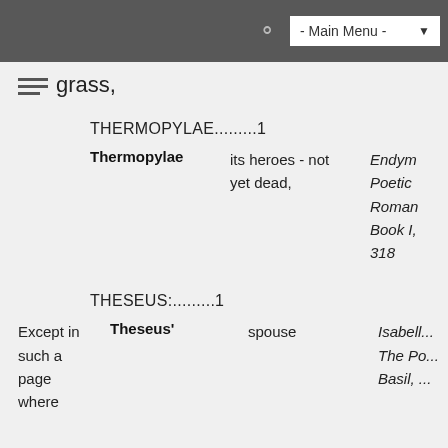- Main Menu -
grass,
THERMOPYLAE.........1
|  | Keyword | Phrase | Source |
| --- | --- | --- | --- |
|  | Thermopylae | its heroes - not yet dead, | Endym... Poetic Roman... Book I, 318 |
THESEUS:.........1
| Context | Keyword | Phrase | Source |
| --- | --- | --- | --- |
| Except in such a page where | Theseus' | spouse | Isabell... The Po... Basil, ... |